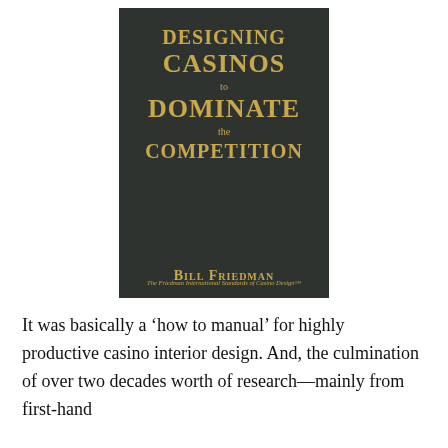[Figure (illustration): Book cover of 'Designing Casinos to Dominate the Competition' by Bill Friedman. Dark green/charcoal background with gold text. Subtitle: The Friedman International Standards of Casino Design™]
It was basically a 'how to manual' for highly productive casino interior design. And, the culmination of over two decades worth of research—mainly from first-hand